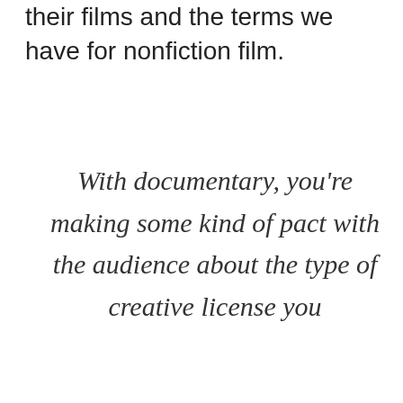their films and the terms we have for nonfiction film.
With documentary, you're making some kind of pact with the audience about the type of creative license you